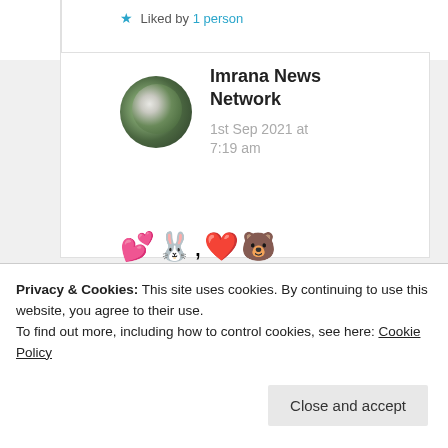★ Liked by 1 person
Imrana News Network
1st Sep 2021 at 7:19 am
💕🐰,❤️🐻
★ Liked by 1 person
Privacy & Cookies: This site uses cookies. By continuing to use this website, you agree to their use. To find out more, including how to control cookies, see here: Cookie Policy
Close and accept